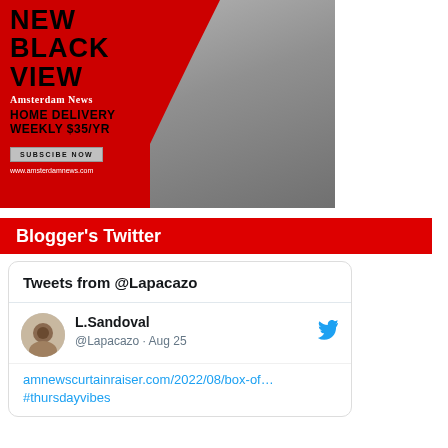[Figure (illustration): Amsterdam News advertisement banner with red background. Shows 'NEW BLACK VIEW' in bold text, Amsterdam News logo, 'HOME DELIVERY WEEKLY $35/YR', a 'SUBSCIBE NOW' button, and 'www.amsterdamnews.com'. A woman reading is shown on the right side.]
Blogger's Twitter
Tweets from @Lapacazo
L.Sandoval @Lapacazo · Aug 25
amnewscurtainraiser.com/2022/08/box-of… #thursdayvibes